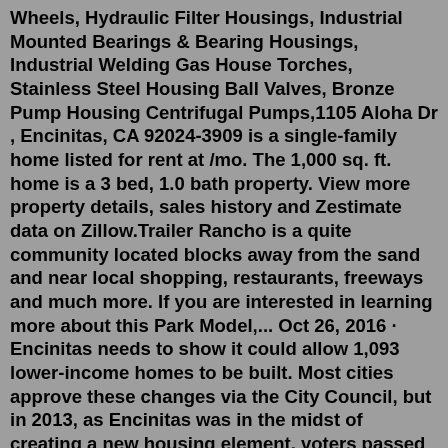Wheels, Hydraulic Filter Housings, Industrial Mounted Bearings & Bearing Housings, Industrial Welding Gas House Torches, Stainless Steel Housing Ball Valves, Bronze Pump Housing Centrifugal Pumps,1105 Aloha Dr , Encinitas, CA 92024-3909 is a single-family home listed for rent at /mo. The 1,000 sq. ft. home is a 3 bed, 1.0 bath property. View more property details, sales history and Zestimate data on Zillow.Trailer Rancho is a quite community located blocks away from the sand and near local shopping, restaurants, freeways and much more. If you are interested in learning more about this Park Model,... Oct 26, 2016 · Encinitas needs to show it could allow 1,093 lower-income homes to be built. Most cities approve these changes via the City Council, but in 2013, as Encinitas was in the midst of creating a new housing element, voters passed Proposition A, which gave them the final say over any zoning change that requires increasing density. Homes for sale in Leucadia, Encinitas, CA have a median listing home price of $2,049,750. There are 22 active homes for sale